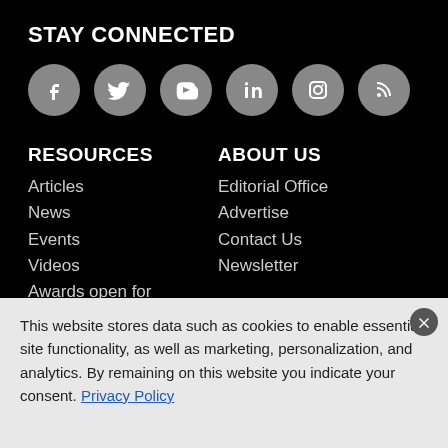STAY CONNECTED
[Figure (illustration): Six social media icons in gray circles: Facebook, Twitter, YouTube, LinkedIn, Instagram, RSS feed]
RESOURCES
Articles
News
Events
Videos
Awards open for Nomination
ABOUT US
Editorial Office
Advertise
Contact Us
Newsletter
HELP
CHEMISTRY
This website stores data such as cookies to enable essential site functionality, as well as marketing, personalization, and analytics. By remaining on this website you indicate your consent. Privacy Policy